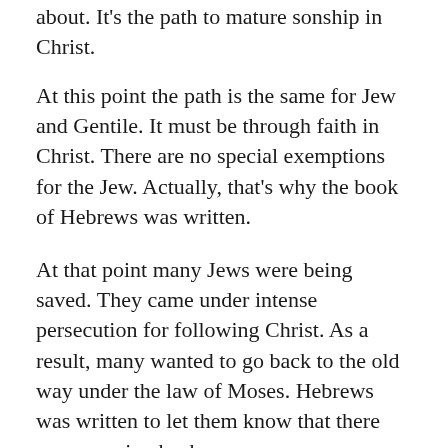about. It’s the path to mature sonship in Christ.
At this point the path is the same for Jew and Gentile. It must be through faith in Christ. There are no special exemptions for the Jew. Actually, that’s why the book of Hebrews was written.
At that point many Jews were being saved. They came under intense persecution for following Christ. As a result, many wanted to go back to the old way under the law of Moses. Hebrews was written to let them know that there was no going back.
The Holy Spirit also testifies to us about this. First he says: “This is the covenant I will make with them after that time, says the Lord. I will put my laws in their hearts, and I will write them on their minds.”
Then he adds: “Their sins and lawless acts I will...